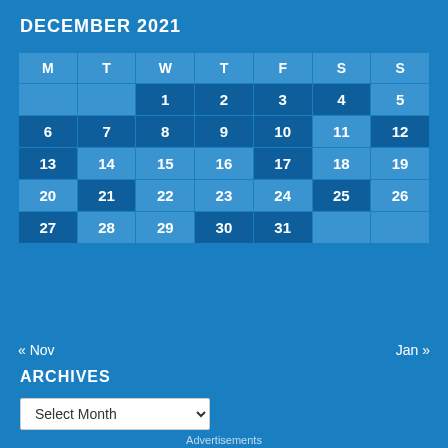DECEMBER 2021
| M | T | W | T | F | S | S |
| --- | --- | --- | --- | --- | --- | --- |
|  |  | 1 | 2 | 3 | 4 | 5 |
| 6 | 7 | 8 | 9 | 10 | 11 | 12 |
| 13 | 14 | 15 | 16 | 17 | 18 | 19 |
| 20 | 21 | 22 | 23 | 24 | 25 | 26 |
| 27 | 28 | 29 | 30 | 31 |  |  |
« Nov    Jan »
ARCHIVES
Select Month